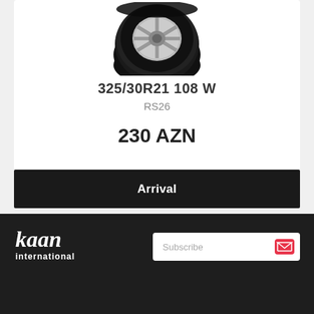[Figure (photo): Partial view of a black car tire with silver rim, cropped at the top]
325/30R21 108 W
RS26
230 AZN
Arrival
[Figure (logo): Kaan International logo in white text on dark background]
Subscribe